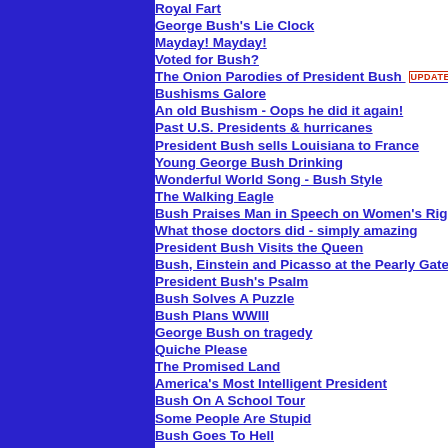[Figure (other): Solid blue vertical bar on the left side of the page]
Royal Fart
George Bush's Lie Clock
Mayday! Mayday!
Voted for Bush?
The Onion Parodies of President Bush UPDATED
Bushisms Galore
An old Bushism - Oops he did it again!
Past U.S. Presidents & hurricanes
President Bush sells Louisiana to France
Young George Bush Drinking
Wonderful World Song - Bush Style
The Walking Eagle
Bush Praises Man in Speech on Women's Rights
What those doctors did - simply amazing
President Bush Visits the Queen
Bush, Einstein and Picasso at the Pearly Gates
President Bush's Psalm
Bush Solves A Puzzle
Bush Plans WWIII
George Bush on tragedy
Quiche Please
The Promised Land
America's Most Intelligent President
Bush On A School Tour
Some People Are Stupid
Bush Goes To Hell
Post Turtle
Puzzled President
I Am Proud To Work For The White House
Don't Lie To The Mirror
Make The Whole Country Happy
Proud To Be A Democrat